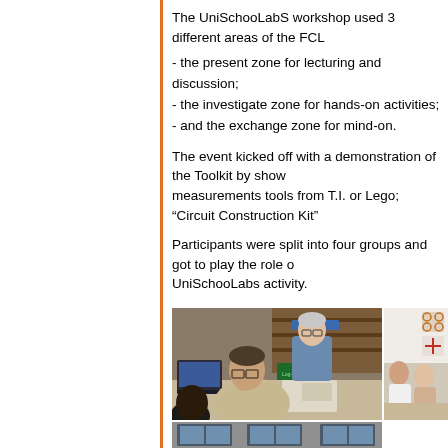The UniSchooLabS workshop used 3 different areas of the FCL
- the present zone for lecturing and discussion;
- the investigate zone for hands-on activities;
- and the exchange zone for mind-on.
The event kicked off with a demonstration of the Toolkit by showing measurements tools from T.I. or Lego; “Circuit Construction Kit”
Participants were split into four groups and got to play the role of UniSchooLabs activity.
[Figure (photo): Workshop participants sitting around a table working on activity materials, with a man in foreground thinking with hand on chin and another person leaning over]
[Figure (photo): Partial view of another group of participants working at a table]